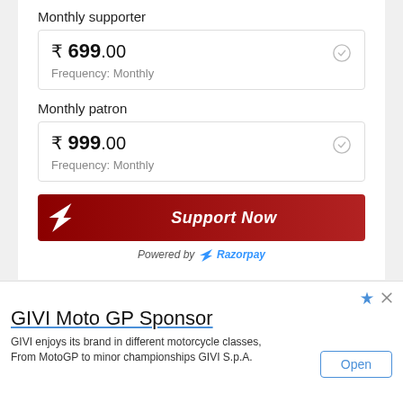Monthly supporter
₹ 699.00
Frequency: Monthly
Monthly patron
₹ 999.00
Frequency: Monthly
[Figure (other): Red 'Support Now' button with Razorpay logo and 'Powered by Razorpay' text below]
[Figure (other): Advertisement banner: GIVI Moto GP Sponsor. GIVI enjoys its brand in different motorcycle classes, From MotoGP to minor championships GIVI S.p.A. with Open button]